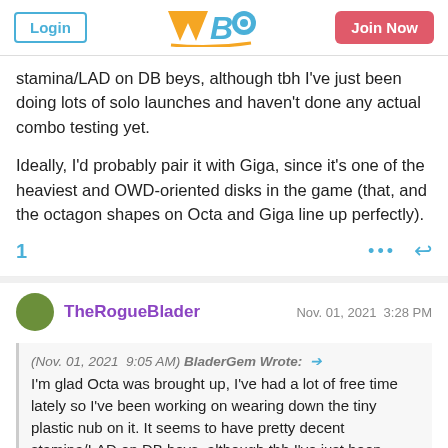WBO forum header with Login and Join Now buttons
stamina/LAD on DB beys, although tbh I've just been doing lots of solo launches and haven't done any actual combo testing yet.

Ideally, I'd probably pair it with Giga, since it's one of the heaviest and OWD-oriented disks in the game (that, and the octagon shapes on Octa and Giga line up perfectly).
TheRogueBlader  Nov. 01, 2021 3:28 PM
(Nov. 01, 2021  9:05 AM) BladerGem Wrote: → I'm glad Octa was brought up, I've had a lot of free time lately so I've been working on wearing down the tiny plastic nub on it. It seems to have pretty decent stamina/LAD on DB beys, although tbh I've just been